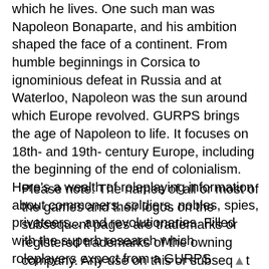which he lives. One such man was Napoleon Bonaparte, and his ambition shaped the face of a continent. From humble beginnings in Corsica to ignominious defeat in Russia and at Waterloo, Napoleon was the sun around which Europe revolved. GURPS brings the age of Napoleon to life. It focuses on 18th- and 19th- century Europe, including the beginning of the end of colonialism. Here's a wealth of roleplaying information about commoners, soldiers, nobles, spies, privateers... and revolutionaries. Filled with the superb research which roleplayers expect from a GURPS historical supplement, GURPS Age of Napoleon breathes life into bloody battlefields... and the equally bloody political intrigue of Napoleon's Europe.
Please note: The names of all or most of the games and their logos on the subsequent pages are trademarks or registered trademarks of the owning company. Any use on this or subsequent pages should not be misconstrued as a ch[allenge]...